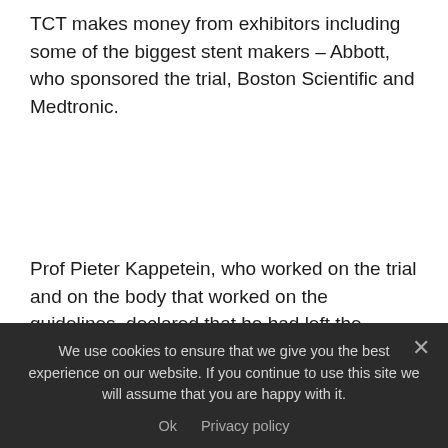TCT makes money from exhibitors including some of the biggest stent makers – Abbott, who sponsored the trial, Boston Scientific and Medtronic.
Prof Pieter Kappetein, who worked on the trial and on the body that worked on the guidelines, declared that he had left the guidelines body to go and work for Medtronic, a medical device manufacturer that makes stents.
Newsnight found that he'd become chief medical officer of Medtronic Structural Heart.
We use cookies to ensure that we give you the best experience on our website. If you continue to use this site we will assume that you are happy with it. Ok  Privacy policy